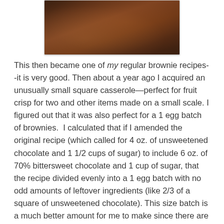[Figure (photo): Close-up photo of dark chocolate brownies in a baking pan, showing glossy crinkled top surface with rich dark brown color]
This then became one of my regular brownie recipes--it is very good. Then about a year ago I acquired an unusually small square casserole—perfect for fruit crisp for two and other items made on a small scale. I figured out that it was also perfect for a 1 egg batch of brownies.  I calculated that if I amended the original recipe (which called for 4 oz. of unsweetened chocolate and 1 1/2 cups of sugar) to include 6 oz. of 70% bittersweet chocolate and 1 cup of sugar, that the recipe divided evenly into a 1 egg batch with no odd amounts of leftover ingredients (like 2/3 of a square of unsweetened chocolate). This size batch is a much better amount for me to make since there are only two in my household. As it turns out, I like this version even better.
If you are looking for a traditional chewy or cakey brownie, this one isn't it. If, on the other hand, you are looking for a